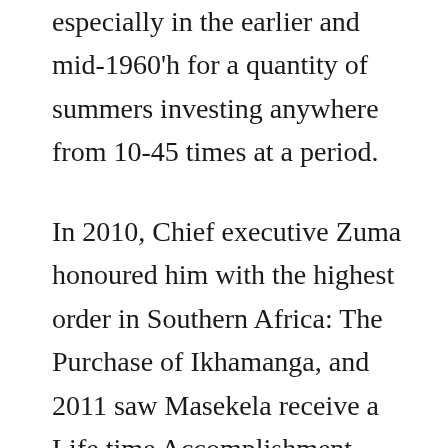especially in the earlier and mid-1960'h for a quantity of summers investing anywhere from 10-45 times at a period.
In 2010, Chief executive Zuma honoured him with the highest order in Southern Africa: The Purchase of Ikhamanga, and 2011 saw Masekela receive a Life time Accomplishment award at the WOMEX Entire world Music Expo in Copenhagen. Video tutorial Slots happen to be the whole